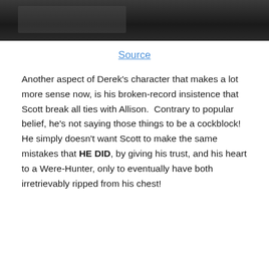[Figure (photo): Top portion of a scene photo, appears to be a dark indoor scene with a person and some objects on a surface.]
Source
Another aspect of Derek’s character that makes a lot more sense now, is his broken-record insistence that Scott break all ties with Allison.  Contrary to popular belief, he’s not saying those things to be a cockblock!  He simply doesn’t want Scott to make the same mistakes that HE DID, by giving his trust, and his heart to a Were-Hunter, only to eventually have both irretrievably ripped from his chest!
[Figure (photo): Black and white photo showing two people in close proximity, one facing toward the camera, indoor setting.]